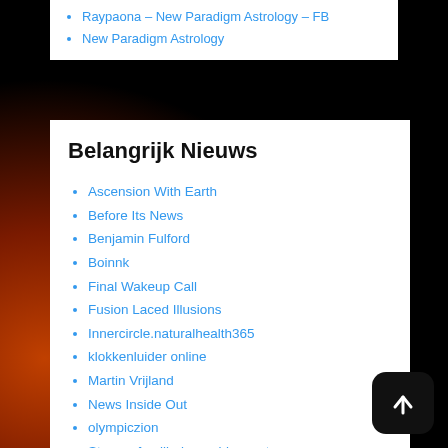Raypaona – New Paradigm Astrology – FB
New Paradigm Astrology
Belangrijk Nieuws
Ascension With Earth
Before Its News
Benjamin Fulford
Boinnk
Final Wakeup Call
Fusion Laced Illusions
Innercircle.naturalhealth365
klokkenluider online
Martin Vrijland
News Inside Out
olympiczion
Stoppasfamiliedrama.blogspot
The embassadorion.blogspot
The Free Thought Project
The Peoples Voice – David Icke